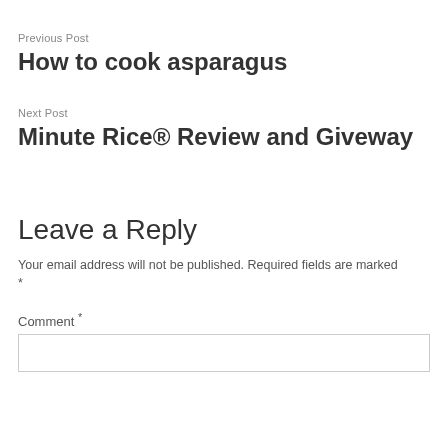Previous Post
How to cook asparagus
Next Post
Minute Rice® Review and Giveway
Leave a Reply
Your email address will not be published. Required fields are marked *
Comment *